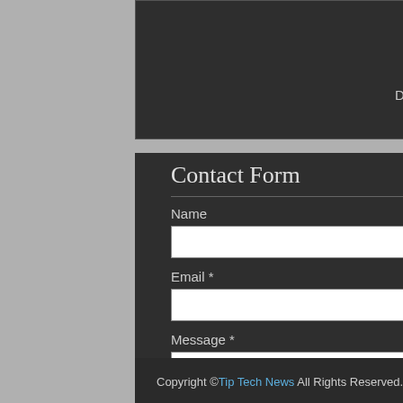[Figure (screenshot): Subscribe button widget box with 'Delivered by TipTechNews' text below]
Contact Form
Name
Email *
Message *
Send
Copyright © Tip Tech News All Rights Reserved. Powered by Blogger Designed by IVYthemes